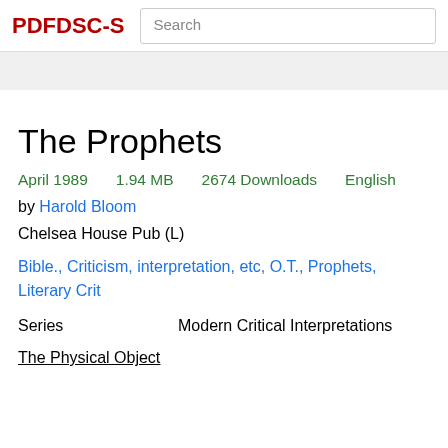PDFDSC-S  Search
The Prophets
April 1989   1.94 MB   2674 Downloads   English
by Harold Bloom
Chelsea House Pub (L)
Bible., Criticism, interpretation, etc, O.T., Prophets, Literary Crit
Series   Modern Critical Interpretations
The Physical Object